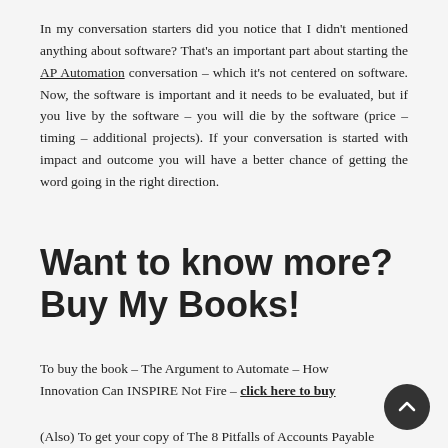In my conversation starters did you notice that I didn't mentioned anything about software? That's an important part about starting the AP Automation conversation – which it's not centered on software. Now, the software is important and it needs to be evaluated, but if you live by the software – you will die by the software (price – timing – additional projects). If your conversation is started with impact and outcome you will have a better chance of getting the word going in the right direction.
Want to know more? Buy My Books!
To buy the book – The Argument to Automate – How Innovation Can INSPIRE Not Fire – click here to buy
(Also) To get your copy of The 8 Pitfalls of Accounts Payable